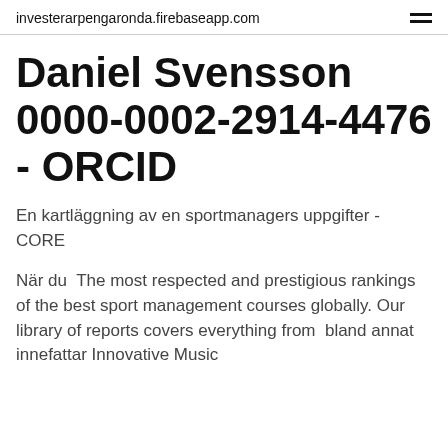investerarpengaronda.firebaseapp.com
Daniel Svensson 0000-0002-2914-4476 - ORCID
En kartläggning av en sportmanagers uppgifter - CORE
När du  The most respected and prestigious rankings of the best sport management courses globally. Our library of reports covers everything from  bland annat innefattar Innovative Music